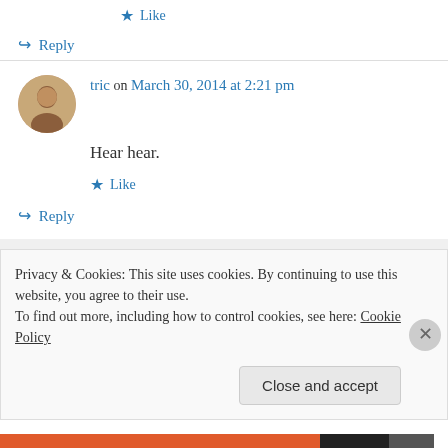★ Like
↪ Reply
tric on March 30, 2014 at 2:21 pm
Hear hear.
★ Like
↪ Reply
mewhoami on March 30, 2014 at 10:30 pm
Privacy & Cookies: This site uses cookies. By continuing to use this website, you agree to their use. To find out more, including how to control cookies, see here: Cookie Policy
Close and accept